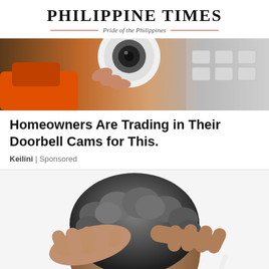PHILIPPINE TIMES — Pride of the Philippines
[Figure (photo): Close-up photo of hands holding a small white security/doorbell camera with an orange power drill nearby and white electrical boxes in the background.]
Homeowners Are Trading in Their Doorbell Cams for This.
Keilini | Sponsored
[Figure (photo): Photo of a person with grey curly hair holding their head in both hands from behind, suggesting stress or headache.]